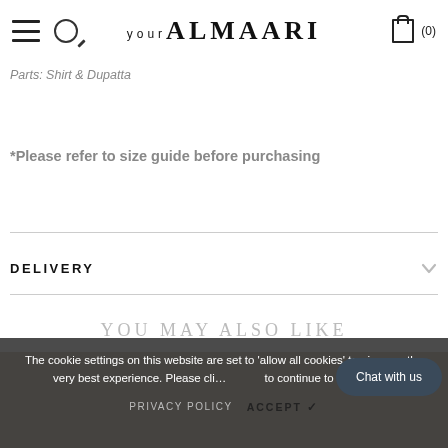YOUR ALMAARI (0)
Parts: Shirt & Dupatta
*Please refer to size guide before purchasing
DELIVERY
YOU MAY ALSO LIKE
The cookie settings on this website are set to 'allow all cookies' to give you the very best experience. Please click to continue to use the site.
PRIVACY POLICY   ACCEPT ✓
Chat with us